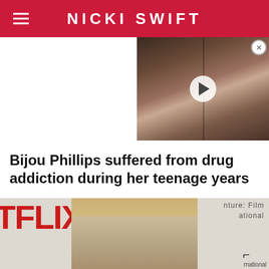NICKI SWIFT
[Figure (photo): Video thumbnail showing two people close together, with a play button overlay]
Bijou Phillips suffered from drug addiction during her teenage years
[Figure (photo): Photo of Bijou Phillips at a Netflix/film festival event, blonde woman facing camera]